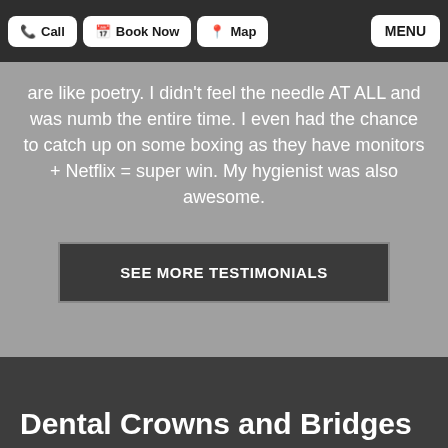Call | Book Now | Map | MENU
are like poetry. I didn't feel the needle AT ALL and was numb the entire time. I even had the chance to catch up on some boxing as they have monitors + Netflix = super win. My hygienist was also awesome.
SEE MORE TESTIMONIALS
Dental Crowns and Bridges